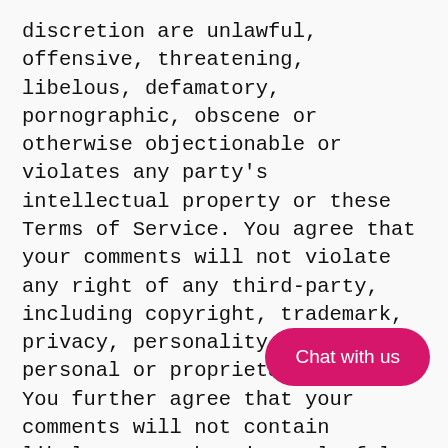discretion are unlawful, offensive, threatening, libelous, defamatory, pornographic, obscene or otherwise objectionable or violates any party's intellectual property or these Terms of Service. You agree that your comments will not violate any right of any third-party, including copyright, trademark, privacy, personality or other personal or proprietary right. You further agree that your comments will not contain libelous or otherwise unlawful, abusive or obscene material, or contain any computer virus or other malware that could in any way affect the operation of the Service or any related website. You may not use a false e-mail address, pretend to be someone other than yourself, or otherwise mislead us or third-parties as to the origin of any comments. You are responsible for any comments you make for their accuracy. We take no responsibility and assume no liability for any comments posted by...
[Figure (other): Pink/magenta 'Chat with us' button overlay in lower right area of the page]